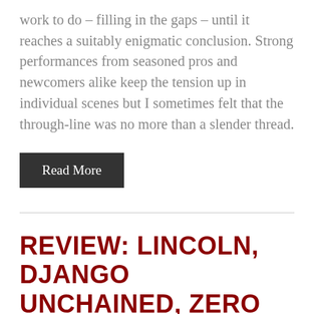work to do – filling in the gaps – until it reaches a suitably enigmatic conclusion. Strong performances from seasoned pros and newcomers alike keep the tension up in individual scenes but I sometimes felt that the through-line was no more than a slender thread.
Read More
REVIEW: LINCOLN, DJANGO UNCHAINED, ZERO DARK THIRTY, SILVER LININGS